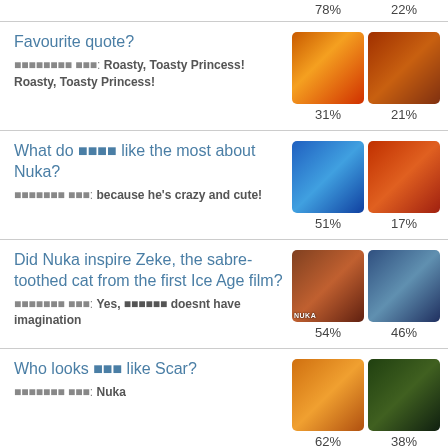78%   22%
Favourite quote?
▪▪▪▪▪▪▪▪ ▪▪▪: Roasty, Toasty Princess! Roasty, Toasty Princess!
31%   21%
What do ▪▪▪▪ like the most about Nuka?
▪▪▪▪▪▪▪ ▪▪▪: because he's crazy and cute!
51%   17%
Did Nuka inspire Zeke, the sabre-toothed cat from the first Ice Age film?
▪▪▪▪▪▪▪ ▪▪▪: Yes, ▪▪▪▪▪▪ doesnt have imagination
54%   46%
Who looks ▪▪▪ like Scar?
▪▪▪▪▪▪▪ ▪▪▪: Nuka
62%   38%